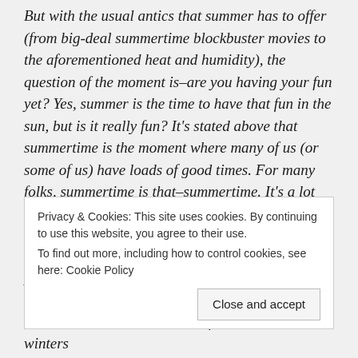But with the usual antics that summer has to offer (from big-deal summertime blockbuster movies to the aforementioned heat and humidity), the question of the moment is–are you having your fun yet? Yes, summer is the time to have that fun in the sun, but is it really fun? It's stated above that summertime is the moment where many of us (or some of us) have loads of good times. For many folks, summertime is that–summertime. It's a lot warmer in the summer than the fall, winter, and spring. But what's so special about summertime?
According to a very unscientific research project
Privacy & Cookies: This site uses cookies. By continuing to use this website, you agree to their use. To find out more, including how to control cookies, see here: Cookie Policy
Close and accept
ones. So even in southern California where winters